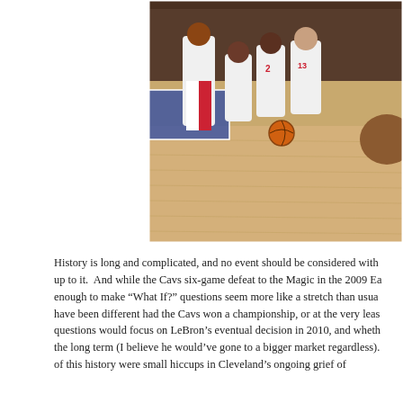[Figure (photo): Cleveland Cavaliers players posing on a basketball court, wearing white and red Cavs jerseys including players with numbers 2 and 13, with photographers and crowd in the background.]
History is long and complicated, and no event should be considered with up to it. And while the Cavs six-game defeat to the Magic in the 2009 Ea enough to make "What If?" questions seem more like a stretch than usua have been different had the Cavs won a championship, or at the very leas questions would focus on LeBron's eventual decision in 2010, and wheth the long term (I believe he would've gone to a bigger market regardless). of this history were small hiccups in Cleveland's ongoing grief of